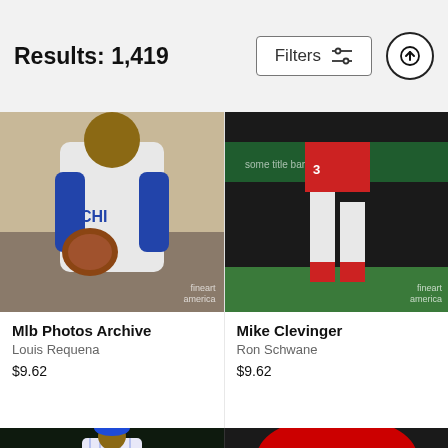Results: 1,419
Filters
[Figure (photo): Baseball player in Chicago Cubs uniform holding a catcher's glove, partial torso view]
Mlb Photos Archive
Louis Requena
$9.62
[Figure (photo): Baseball player in red/white uniform (Angels or Red Sox) running on the baseball field]
Mike Clevinger
Ron Schwane
$9.62
[Figure (photo): Baseball player in Chicago Cubs pinstripe uniform celebrating, fist pumping]
[Figure (photo): Baseball player wearing a red Boston Red Sox cap, close-up portrait with batting gloves]